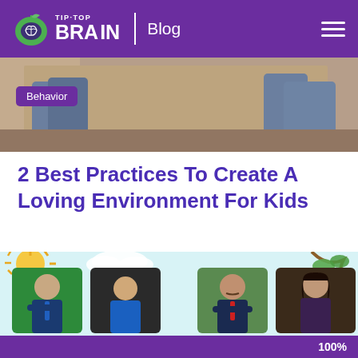TIP-TOP BRAIN | Blog
[Figure (photo): Hero image showing two people sitting together, partially visible from waist down, with a purple 'Behavior' badge overlay]
2 Best Practices To Create A Loving Environment For Kids
[Figure (photo): Strip of four expert headshot photos against a colorful illustrated background with sun, clouds, and tree branches]
100%